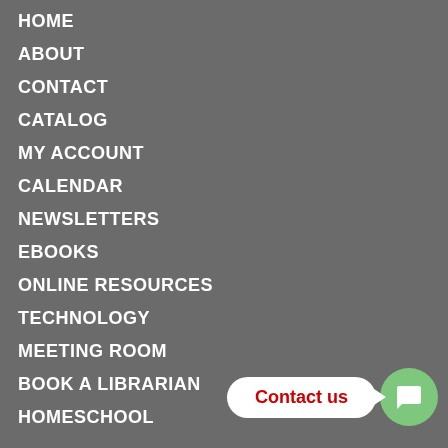HOME
ABOUT
CONTACT
CATALOG
MY ACCOUNT
CALENDAR
NEWSLETTERS
EBOOKS
ONLINE RESOURCES
TECHNOLOGY
MEETING ROOM
BOOK A LIBRARIAN
HOMESCHOOL
[Figure (infographic): Contact us chat widget with white speech bubble containing red 'Contact us' text and a green circular chat icon]